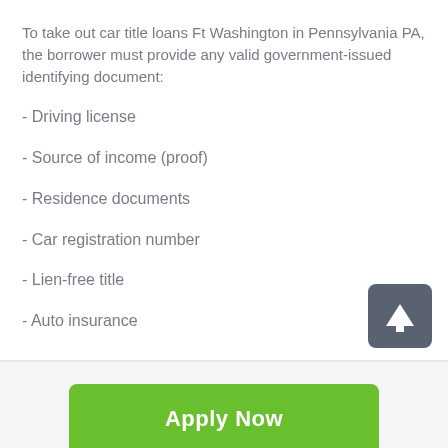To take out car title loans Ft Washington in Pennsylvania PA, the borrower must provide any valid government-issued identifying document:
- Driving license
- Source of income (proof)
- Residence documents
- Car registration number
- Lien-free title
- Auto insurance
Apply Now
Applying does NOT affect your credit score! No credit check to apply.